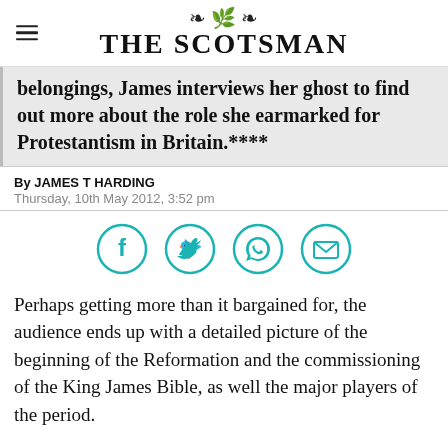THE SCOTSMAN
belongings, James interviews her ghost to find out more about the role she earmarked for Protestantism in Britain.****
By JAMES T HARDING
Thursday, 10th May 2012, 3:52 pm
[Figure (other): Social share icons: Facebook, Twitter, WhatsApp, Email]
Perhaps getting more than it bargained for, the audience ends up with a detailed picture of the beginning of the Reformation and the commissioning of the King James Bible, as well the major players of the period.